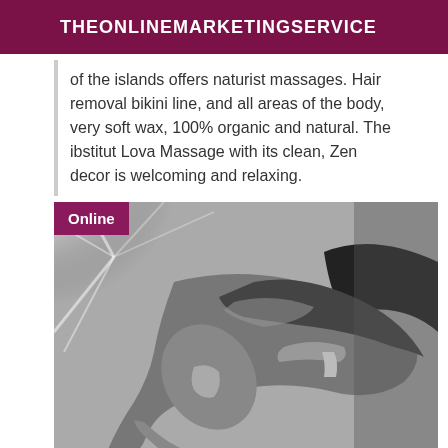THEONLINEMARKETINGSERVICE
of the islands offers naturist massages. Hair removal bikini line, and all areas of the body, very soft wax, 100% organic and natural. The ibstitut Lova Massage with its clean, Zen decor is welcoming and relaxing.
[Figure (photo): Black and white photograph showing a person bending forward, viewed from the side, with light rays visible in the upper left corner. An 'Online' badge appears in the upper left of the image.]